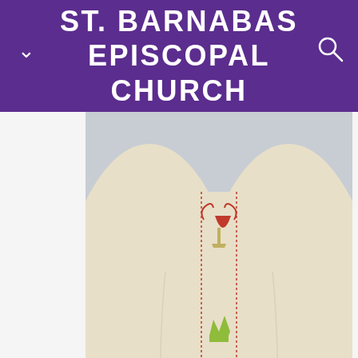ST. BARNABAS EPISCOPAL CHURCH
[Figure (photo): Close-up photo of a priest or clergy member in cream/ivory vestments with ornate embroidered stole featuring red, gold, green, and blue decorative motifs including a chalice, crown, and floral patterns. The figure's hands are clasped together in front, wearing white alb sleeves underneath.]